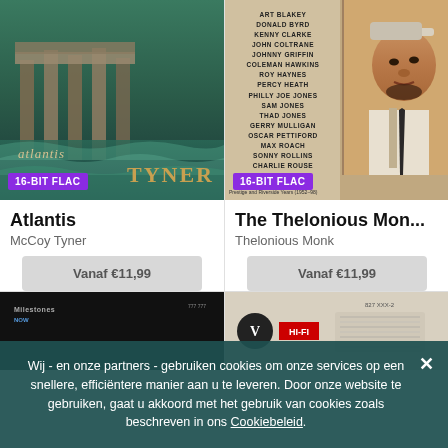[Figure (photo): Album cover for Atlantis by McCoy Tyner showing ancient ruins with ocean waves, with text 'atlantis' and 'TYNER' and a purple '16-BIT FLAC' badge]
[Figure (photo): Album cover showing a list of jazz musician names including Art Blakey, Donald Byrd, Kenny Clarke, John Coltrane, and others alongside a photo of Thelonious Monk wearing a hat, with a purple '16-BIT FLAC' badge]
Atlantis
McCoy Tyner
Vanaf €11,99
The Thelonious Mon...
Thelonious Monk
Vanaf €11,99
[Figure (screenshot): Dark thumbnail of a Milestones album]
[Figure (screenshot): Thumbnail of a Verve Hi-Fi album with red badge]
Wij - en onze partners - gebruiken cookies om onze services op een snellere, efficiëntere manier aan u te leveren. Door onze website te gebruiken, gaat u akkoord met het gebruik van cookies zoals beschreven in ons Cookiebeleid.